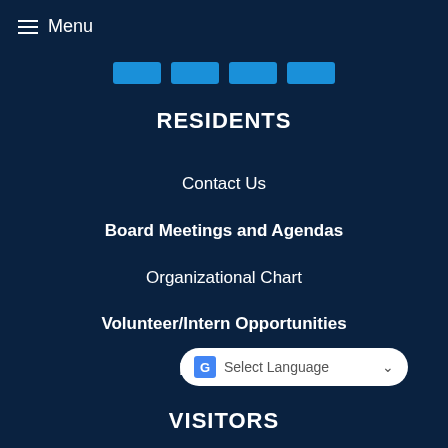Menu
[Figure (screenshot): Four blue navigation buttons in a row]
RESIDENTS
Contact Us
Board Meetings and Agendas
Organizational Chart
Volunteer/Intern Opportunities
Required P[artially obscured by translate widget]
[Figure (screenshot): Google Translate Select Language dropdown widget]
VISITORS